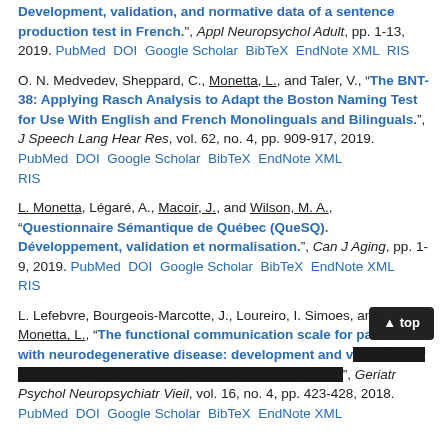Development, validation, and normative data of a sentence production test in French.", Appl Neuropsychol Adult, pp. 1-13, 2019. PubMed DOI Google Scholar BibTeX EndNote XML RIS
O. N. Medvedev, Sheppard, C., Monetta, L., and Taler, V., "The BNT-38: Applying Rasch Analysis to Adapt the Boston Naming Test for Use With English and French Monolinguals and Bilinguals.", J Speech Lang Hear Res, vol. 62, no. 4, pp. 909-917, 2019. PubMed DOI Google Scholar BibTeX EndNote XML RIS
L. Monetta, Légaré, A., Macoir, J., and Wilson, M. A., "Questionnaire Sémantique de Québec (QueSQ). Développement, validation et normalisation.", Can J Aging, pp. 1-9, 2019. PubMed DOI Google Scholar BibTeX EndNote XML RIS
L. Lefebvre, Bourgeois-Marcotte, J., Loureiro, I. Simoes, and Monetta, L., "The functional communication scale for patients with neurodegenerative disease: development and validation of a French test evaluating residual communication skills.", Geriatr Psychol Neuropsychiatr Vieil, vol. 16, no. 4, pp. 423-428, 2018. PubMed DOI Google Scholar BibTeX EndNote XML